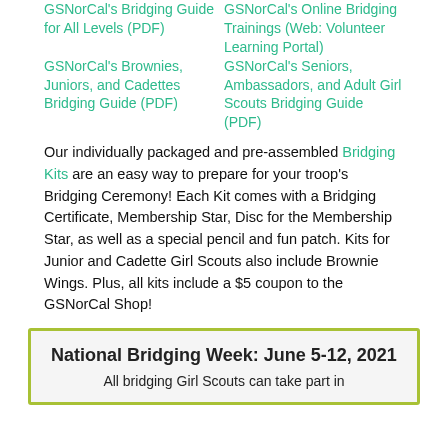GSNorCal's Bridging Guide for All Levels (PDF)
GSNorCal's Online Bridging Trainings (Web: Volunteer Learning Portal)
GSNorCal's Brownies, Juniors, and Cadettes Bridging Guide (PDF)
GSNorCal's Seniors, Ambassadors, and Adult Girl Scouts Bridging Guide (PDF)
Our individually packaged and pre-assembled Bridging Kits are an easy way to prepare for your troop's Bridging Ceremony! Each Kit comes with a Bridging Certificate, Membership Star, Disc for the Membership Star, as well as a special pencil and fun patch. Kits for Junior and Cadette Girl Scouts also include Brownie Wings. Plus, all kits include a $5 coupon to the GSNorCal Shop!
National Bridging Week: June 5-12, 2021
All bridging Girl Scouts can take part in